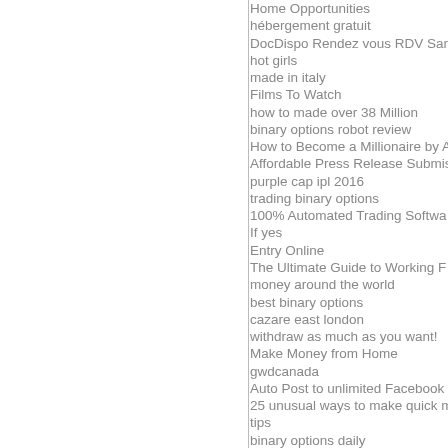Home Opportunities
hébergement gratuit
DocDispo Rendez vous RDV Sa...
hot girls
made in italy
Films To Watch
how to made over 38 Million
binary options robot review
How to Become a Millionaire by A...
Affordable Press Release Submi...
purple cap ipl 2016
trading binary options
100% Automated Trading Softwa...
If yes
Entry Online
The Ultimate Guide to Working F...
money around the world
best binary options
cazare east london
withdraw as much as you want!
Make Money from Home
gwdcanada
Auto Post to unlimited Facebook...
25 unusual ways to make quick m...
tips
binary options daily
sssssssssss
Lose Weight
Earn 50$ every day
vIVO IPL schedule venue 2017
Smartphone